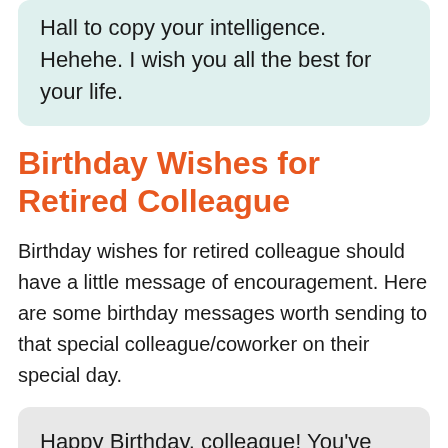Hall to copy your intelligence. Hehehe. I wish you all the best for your life.
Birthday Wishes for Retired Colleague
Birthday wishes for retired colleague should have a little message of encouragement. Here are some birthday messages worth sending to that special colleague/coworker on their special day.
Happy Birthday, colleague! You've worked for so long and now you can finally enjoy some super down time.